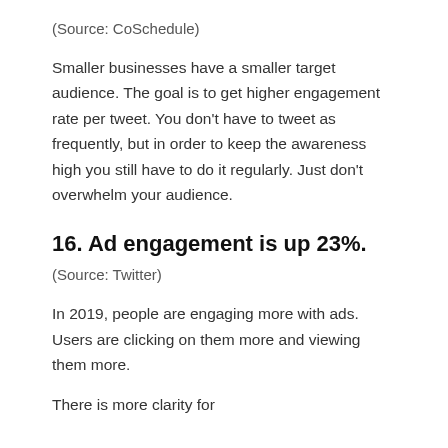(Source: CoSchedule)
Smaller businesses have a smaller target audience. The goal is to get higher engagement rate per tweet. You don't have to tweet as frequently, but in order to keep the awareness high you still have to do it regularly. Just don't overwhelm your audience.
16. Ad engagement is up 23%.
(Source: Twitter)
In 2019, people are engaging more with ads. Users are clicking on them more and viewing them more.
There is more clarity for